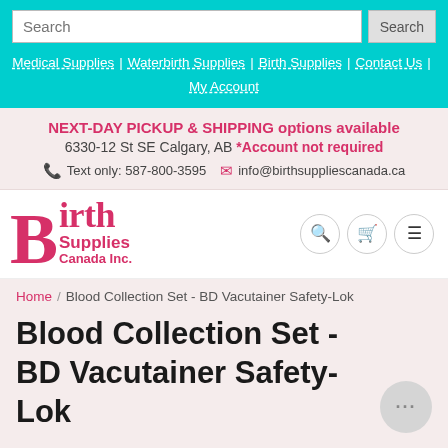Search | Medical Supplies | Waterbirth Supplies | Birth Supplies | Contact Us | My Account
NEXT-DAY PICKUP & SHIPPING options available
6330-12 St SE Calgary, AB *Account not required
Text only: 587-800-3595  info@birthsuppliescanada.ca
[Figure (logo): Birth Supplies Canada Inc. logo in pink/red text]
Home / Blood Collection Set - BD Vacutainer Safety-Lok
Blood Collection Set - BD Vacutainer Safety-Lok